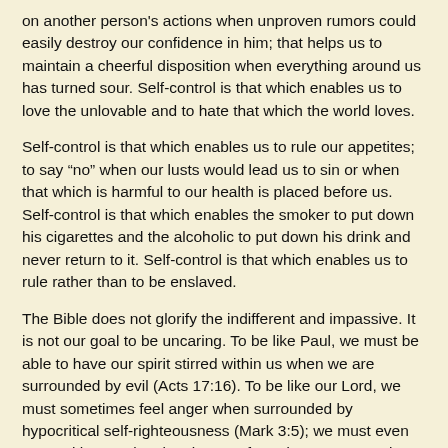on another person's actions when unproven rumors could easily destroy our confidence in him; that helps us to maintain a cheerful disposition when everything around us has turned sour. Self-control is that which enables us to love the unlovable and to hate that which the world loves.
Self-control is that which enables us to rule our appetites; to say “no” when our lusts would lead us to sin or when that which is harmful to our health is placed before us. Self-control is that which enables the smoker to put down his cigarettes and the alcoholic to put down his drink and never return to it. Self-control is that which enables us to rule rather than to be enslaved.
The Bible does not glorify the indifferent and impassive. It is not our goal to be uncaring. To be like Paul, we must be able to have our spirit stirred within us when we are surrounded by evil (Acts 17:16). To be like our Lord, we must sometimes feel anger when surrounded by hypocritical self-righteousness (Mark 3:5); we must even react with occasional outbursts of goodness on occasions, as when the Lord cleansed the temple (John 2:13-17). But, all such